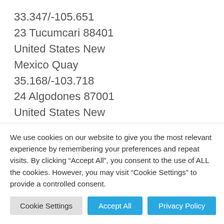33.347/-105.651
23 Tucumcari 88401
United States New Mexico Quay
35.168/-103.718
24 Algodones 87001
United States New Mexico Sandoval
35.389/-106.352
25 Belen 87002
United States New
We use cookies on our website to give you the most relevant experience by remembering your preferences and repeat visits. By clicking “Accept All”, you consent to the use of ALL the cookies. However, you may visit “Cookie Settings” to provide a controlled consent.